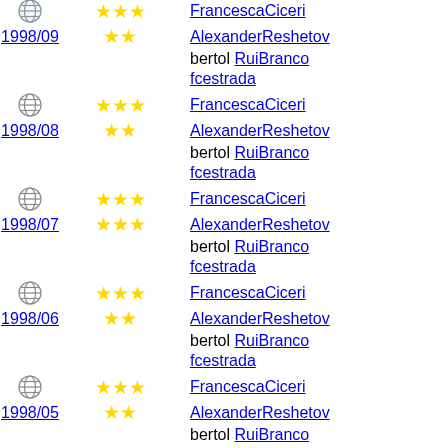FrancescaCiceri (3 stars, globe icon)
1998/09 - AlexanderReshetov (2 stars)
bertol RuiBranco
fcestrada
FrancescaCiceri (3 stars, globe icon)
1998/08 - AlexanderReshetov (2 stars)
bertol RuiBranco
fcestrada
FrancescaCiceri (3 stars, globe icon)
1998/07 - AlexanderReshetov (2 stars)
bertol RuiBranco
fcestrada
FrancescaCiceri (3 stars, globe icon)
1998/06 - AlexanderReshetov (2 stars)
bertol RuiBranco
fcestrada
FrancescaCiceri (3 stars, globe icon)
1998/05 - AlexanderReshetov (2 stars)
bertol RuiBranco